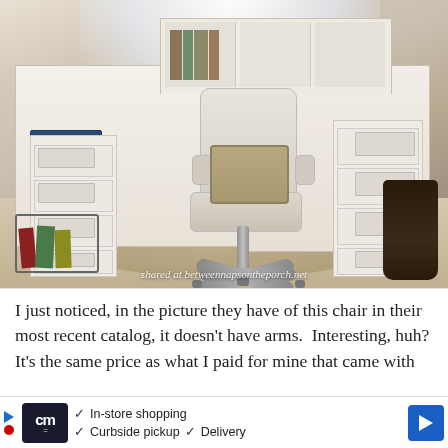[Figure (photo): A white L-shaped corner desk with file cabinet drawers and hardware pulls, an upholstered swivel office chair on casters, a jute rug, and shelving hutch with books and decorative items, photographed in a bright home office setting with large windows. A watermark reads 'shared at betweennapsontheporch.net'.]
I just noticed, in the picture they have of this chair in their most recent catalog, it doesn't have arms.  Interesting, huh? It's the same price as what I paid for mine that came with arms. I... u can't purchas... ild not.